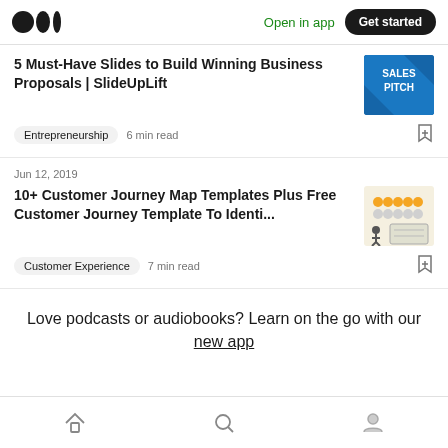Open in app | Get started
5 Must-Have Slides to Build Winning Business Proposals | SlideUpLift
Entrepreneurship  6 min read
Jun 12, 2019
10+ Customer Journey Map Templates Plus Free Customer Journey Template To Identi...
Customer Experience  7 min read
Love podcasts or audiobooks? Learn on the go with our new app
Home | Search | Profile